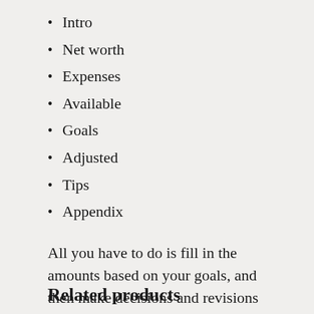Intro
Net worth
Expenses
Available
Goals
Adjusted
Tips
Appendix
All you have to do is fill in the amounts based on your goals, and then make decisions and revisions until you have a workable plan in place!
Related products